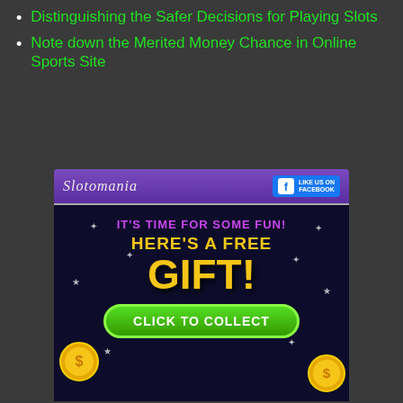Distinguishing the Safer Decisions for Playing Slots
Note down the Merited Money Chance in Online Sports Site
[Figure (screenshot): Slotomania advertisement banner with purple header showing 'Slotomania' logo and Facebook like button. Dark blue body with text 'IT'S TIME FOR SOME FUN! HERE'S A FREE GIFT!' in yellow and purple with a green 'CLICK TO COLLECT' button and gold coins.]